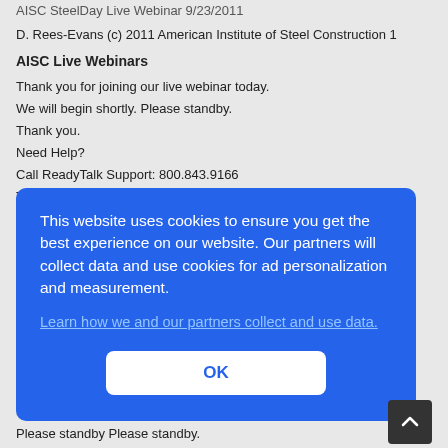AISC SteelDay Live Webinar 9/23/2011
D. Rees-Evans (c) 2011 American Institute of Steel Construction 1
AISC Live Webinars
Thank you for joining our live webinar today.
We will begin shortly. Please standby.
Thank you.
Need Help?
Call ReadyTalk Support: 800.843.9166
Today's audio will be broadcast through the internet.
Alternatively, to hear the audio through the phone,
[Figure (screenshot): Cookie consent overlay dialog with blue background. Text: 'This website uses cookies to ensure you get the best experience on our website. Our partners will collect data and use cookies for ad personalization and measurement.' with a link 'Learn how we and our partners collect and use data.' and an OK button.]
Please standby Please standby.